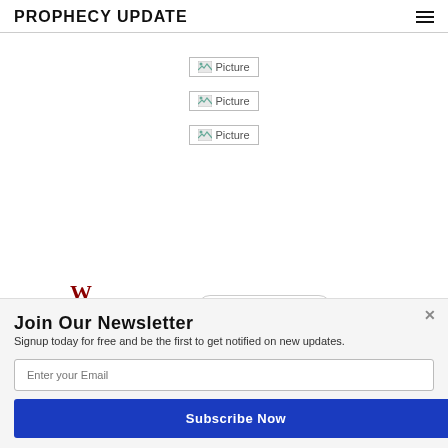PROPHECY UPDATE
[Figure (other): Broken image placeholder 1]
[Figure (other): Broken image placeholder 2]
[Figure (other): Broken image placeholder 3]
[Figure (logo): W logo in dark red]
[Figure (other): Powered by SUMO badge]
Join Our Newsletter
Signup today for free and be the first to get notified on new updates.
Enter your Email
Subscribe Now